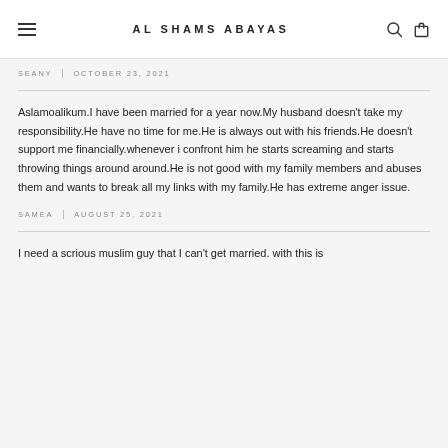AL SHAMS ABAYAS
SEANY   OCTOBER 23, 2021
Aslamoalikum.I have been married for a year now.My husband doesn't take my responsibility.He have no time for me.He is always out with his friends.He doesn't support me financially.whenever i confront him he starts screaming and starts throwing things around around.He is not good with my family members and abuses them and wants to break all my links with my family.He has extreme anger issue.
SAMEA   AUGUST 25, 2021
I need a scrious muslim guy that I can't get married. with this is